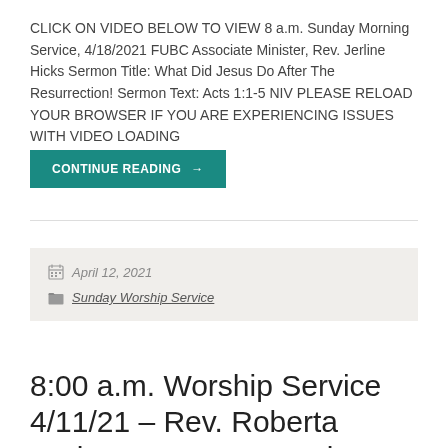CLICK ON VIDEO BELOW TO VIEW 8 a.m. Sunday Morning Service, 4/18/2021 FUBC Associate Minister, Rev. Jerline Hicks Sermon Title: What Did Jesus Do After The Resurrection! Sermon Text: Acts 1:1-5 NIV PLEASE RELOAD YOUR BROWSER IF YOU ARE EXPERIENCING ISSUES WITH VIDEO LOADING
CONTINUE READING →
April 12, 2021
Sunday Worship Service
8:00 a.m. Worship Service 4/11/21 – Rev. Roberta Jackson, FUBC Associate Minister